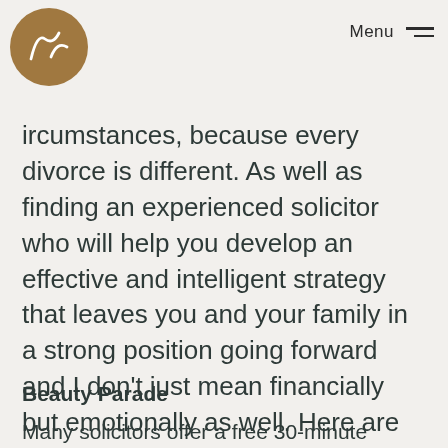Menu
ircumstances, because every divorce is different. As well as finding an experienced solicitor who will help you develop an effective and intelligent strategy that leaves you and your family in a strong position going forward and I don't just mean financially but emotionally as well. Here are some top tips to help you narrow your search:
Beauty Parade
Many solicitors offer a free 30-minute